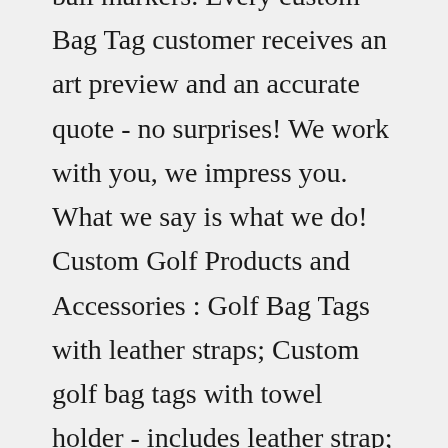ball markers. Every custom Bag Tag customer receives an art preview and an accurate quote - no surprises! We work with you, we impress you. What we say is what we do! Custom Golf Products and Accessories : Golf Bag Tags with leather straps; Custom golf bag tags with towel holder - includes leather strap; Divot tools available in custom shapes and designs Jan 14, 2021 · Custom Golf Accessories for Direct Mail Campaigns. Reach your